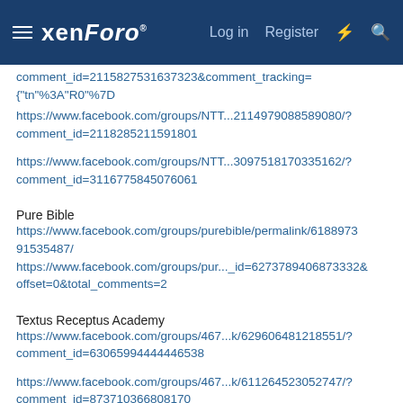xenForo  Log in  Register
comment_id=2115827531637323&comment_tracking=
{"tn"%3A"R0"%7D
https://www.facebook.com/groups/NTT...2114979088589080/?comment_id=2118285211591801
https://www.facebook.com/groups/NTT...3097518170335162/?comment_id=3116775845076061
Pure Bible
https://www.facebook.com/groups/purebible/permalink/618897391535487/
https://www.facebook.com/groups/pur..._id=6273789406873328&offset=0&total_comments=2
Textus Receptus Academy
https://www.facebook.com/groups/467...k/629606481218551/?comment_id=63065994444638
https://www.facebook.com/groups/467...k/611264523052747/?comment_id=873710366808170